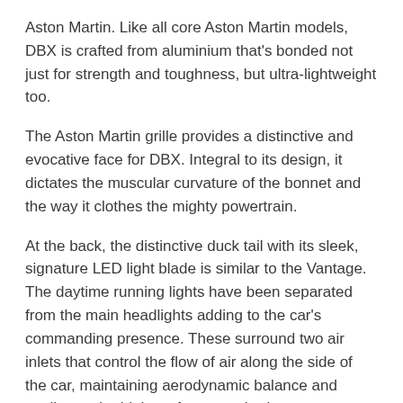Aston Martin. Like all core Aston Martin models, DBX is crafted from aluminium that's bonded not just for strength and toughness, but ultra-lightweight too.
The Aston Martin grille provides a distinctive and evocative face for DBX. Integral to its design, it dictates the muscular curvature of the bonnet and the way it clothes the mighty powertrain.
At the back, the distinctive duck tail with its sleek, signature LED light blade is similar to the Vantage. The daytime running lights have been separated from the main headlights adding to the car's commanding presence. These surround two air inlets that control the flow of air along the side of the car, maintaining aerodynamic balance and cooling to the high-performance brakes.